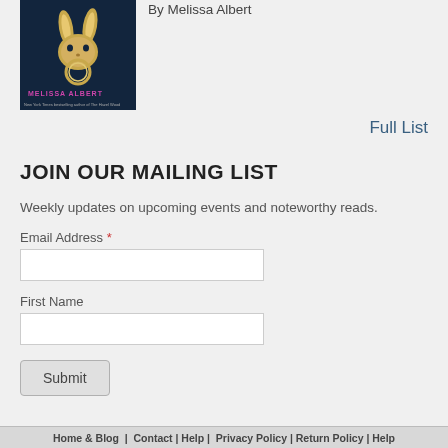[Figure (illustration): Book cover for a novel — dark blue background with a stylized golden rabbit/hare mask and ring, text 'MELISSA ALBERT' at the bottom, subtitle 'New York Times bestselling author of The Hazel Wood']
By Melissa Albert
Full List
JOIN OUR MAILING LIST
Weekly updates on upcoming events and noteworthy reads.
Email Address *
First Name
Submit
Home | Blog | Contact | Help | Privacy Policy | Return Policy | Help